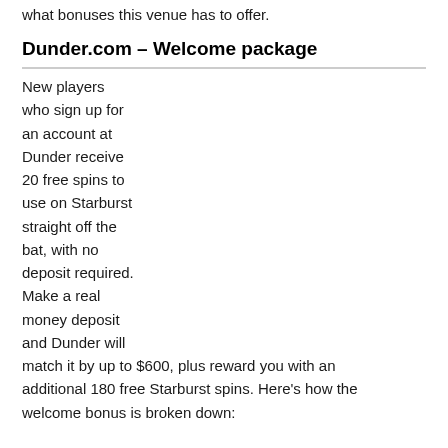what bonuses this venue has to offer.
Dunder.com – Welcome package
New players who sign up for an account at Dunder receive 20 free spins to use on Starburst straight off the bat, with no deposit required. Make a real money deposit and Dunder will match it by up to $600, plus reward you with an additional 180 free Starburst spins. Here's how the welcome bonus is broken down: